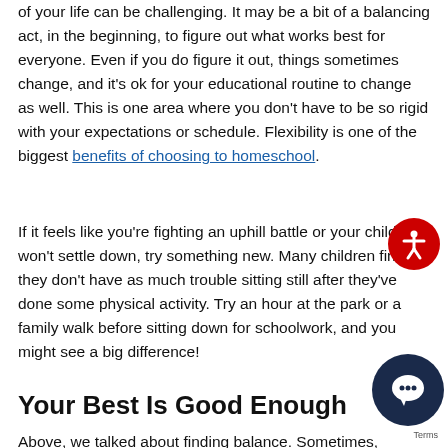of your life can be challenging. It may be a bit of a balancing act, in the beginning, to figure out what works best for everyone. Even if you do figure it out, things sometimes change, and it's ok for your educational routine to change as well. This is one area where you don't have to be so rigid with your expectations or schedule. Flexibility is one of the biggest benefits of choosing to homeschool.
If it feels like you're fighting an uphill battle or your child won't settle down, try something new. Many children find they don't have as much trouble sitting still after they've done some physical activity. Try an hour at the park or a family walk before sitting down for schoolwork, and you might see a big difference!
Your Best Is Good Enough
Above, we talked about finding balance. Sometimes, however,